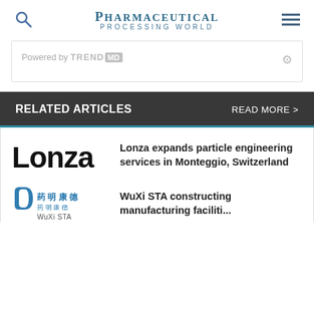Pharmaceutical Processing World
[Figure (logo): Pharmaceutical Processing World logo with search and menu icons]
[Figure (logo): Powered by TrendMD widget box with gear icon]
RELATED ARTICLES   READ MORE >
[Figure (logo): Lonza company logo]
Lonza expands particle engineering services in Monteggio, Switzerland
[Figure (logo): WuXi STA company logo with Chinese characters]
WuXi STA constructing manufacturing faciliti...